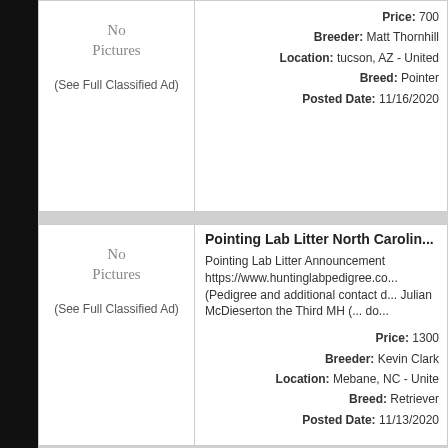[Figure (other): No Pictures placeholder for first listing]
(See Full Classified Ad)
Price: 700
Breeder: Matt Thornhill
Location: tucson, AZ - United
Breed: Pointer
Posted Date: 11/16/2020
Pointing Lab Litter North Carolin...
Pointing Lab Litter Announcement https://www.huntinglabpedigree.co... (Pedigree and additional contact d... Julian McDieserton the Third MH (... do...
[Figure (other): No Pictures placeholder for second listing]
(See Full Classified Ad)
Price: 1300
Breeder: Kevin Clark
Location: Mebane, NC - Unite
Breed: Retriever
Posted Date: 11/13/2020